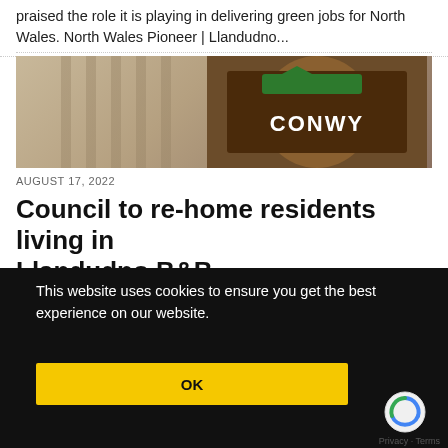praised the role it is playing in delivering green jobs for North Wales. North Wales Pioneer | Llandudno...
[Figure (photo): A photo showing a multi-storey building facade on the left and a Conway branded sign on the right]
AUGUST 17, 2022
Council to re-home residents living in Llandudno B&B
This website uses cookies to ensure you get the best experience on our website.
OK
Privacy · Terms